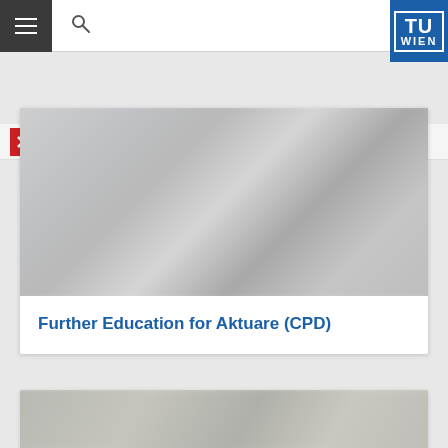TU Wien – ACE
ACE
[Figure (photo): Blurred background image showing an out-of-focus laboratory or office environment in grey tones]
Further Education for Aktuare (CPD)
[Figure (photo): Blurred grey background image, partially visible at bottom of page]